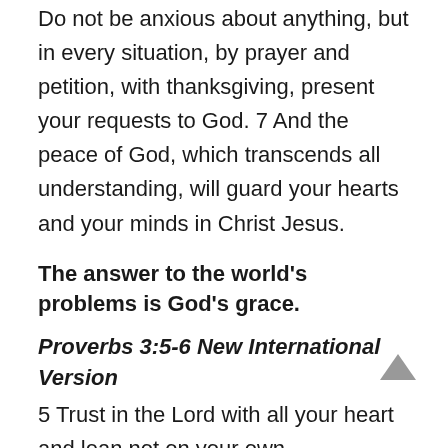Do not be anxious about anything, but in every situation, by prayer and petition, with thanksgiving, present your requests to God. 7 And the peace of God, which transcends all understanding, will guard your hearts and your minds in Christ Jesus.
The answer to the world's problems is God's grace.
Proverbs 3:5-6 New International Version
5 Trust in the Lord with all your heart and lean not on your own understanding; 6 in all your ways submit to him, and he will make your paths straight.
Get your nose out of other people's